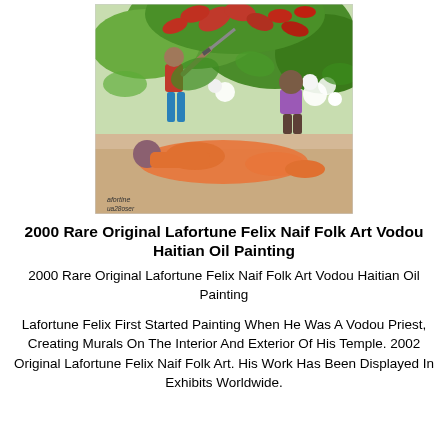[Figure (illustration): Haitian folk art painting showing figures in a tropical scene with lush green foliage, red flowers, and white flowers. A figure in red shirt and blue pants holds a sword/machete over a reclining figure in orange. Another figure in purple/lavender shirt is in the background. Artist signature visible at bottom left reading 'Lafortune Felix' with date.]
2000 Rare Original Lafortune Felix Naif Folk Art Vodou Haitian Oil Painting
2000 Rare Original Lafortune Felix Naif Folk Art Vodou Haitian Oil Painting
Lafortune Felix First Started Painting When He Was A Vodou Priest, Creating Murals On The Interior And Exterior Of His Temple. 2002 Original Lafortune Felix Naif Folk Art. His Work Has Been Displayed In Exhibits Worldwide.